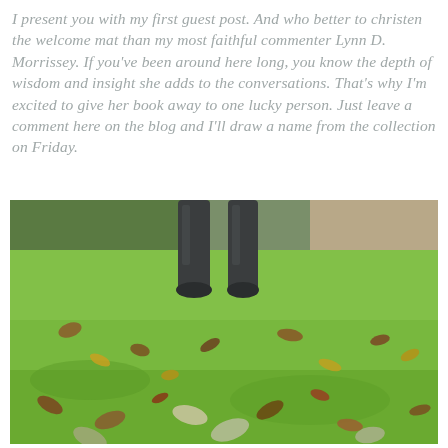I present you with my first guest post. And who better to christen the welcome mat than my most faithful commenter Lynn D. Morrissey. If you've been around here long, you know the depth of wisdom and insight she adds to the conversations. That's why I'm excited to give her book away to one lucky person. Just leave a comment here on the blog and I'll draw a name from the collection on Friday.
[Figure (photo): Outdoor photo showing the lower legs of a person wearing dark wellington boots standing on a green grass lawn scattered with fallen autumn leaves in shades of brown, yellow and orange. Tree trunks and greenery are visible in the blurred background.]